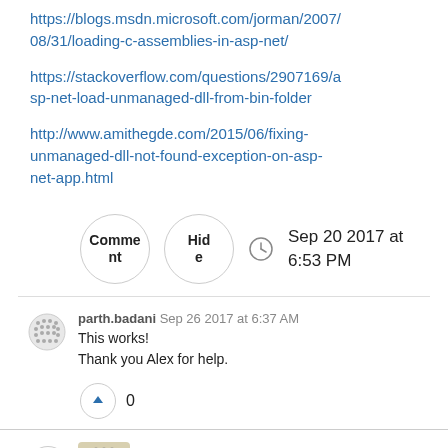https://blogs.msdn.microsoft.com/jorman/2007/08/31/loading-c-assemblies-in-asp-net/
https://stackoverflow.com/questions/2907169/asp-net-load-unmanaged-dll-from-bin-folder
http://www.amithegde.com/2015/06/fixing-unmanaged-dll-not-found-exception-on-asp-net-app.html
Comment  Hide  Sep 20 2017 at 6:53 PM
parth.badani Sep 26 2017 at 6:37 AM
This works!
Thank you Alex for help.
0
Alex Putkov.1
39.3k  76  11  27
Most likely you're missing one of the